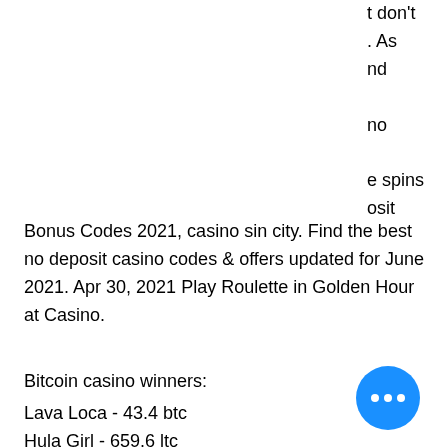t don't
. As
nd
no
e spins
osit
Bonus Codes 2021, casino sin city. Find the best no deposit casino codes & offers updated for June 2021. Apr 30, 2021 Play Roulette in Golden Hour at Casino.
Bitcoin casino winners:
Lava Loca - 43.4 btc
Hula Girl - 659.6 ltc
Devil's Heat - 641.4 ltc
Super Flip - 419.4 dog
Jackpot Rango - 492 dog
Casanova - 522.6 btc
Sakura Fortune - 618.8 eth
5x Magic - 219.5 ltc